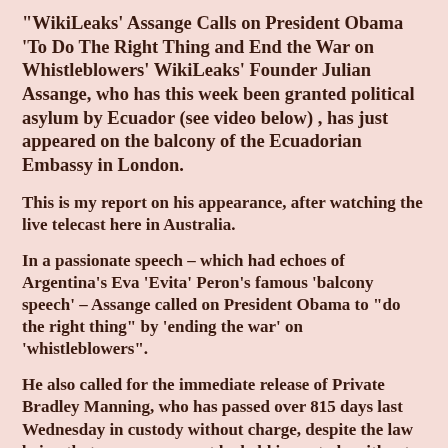"WikiLeaks' Assange Calls on President Obama 'To Do The Right Thing and End the War on Whistleblowers' WikiLeaks' Founder Julian Assange, who has this week been granted political asylum by Ecuador (see video below) , has just appeared on the balcony of the Ecuadorian Embassy in London.
This is my report on his appearance, after watching the live telecast here in Australia.
In a passionate speech – which had echoes of Argentina’s Eva ‘Evita’ Peron’s famous ‘balcony speech’ – Assange called on President Obama to “do the right thing” by ‘ending the war’ on ‘whistleblowers”.
He also called for the immediate release of Private Bradley Manning, who has passed over 815 days last Wednesday in custody without charge, despite the law being that a person cannot be held in custody without charge for more than 120